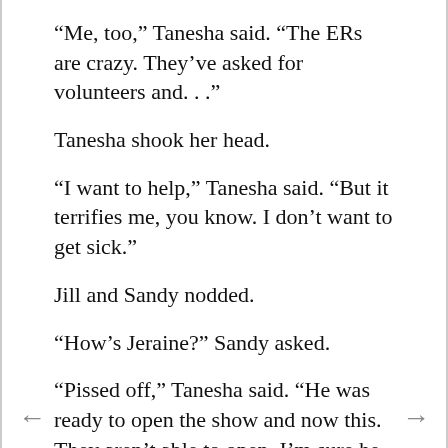“Me, too,” Tanesha said. “The ERs are crazy. They’ve asked for volunteers and. . .”
Tanesha shook her head.
“I want to help,” Tanesha said. “But it terrifies me, you know. I don’t want to get sick.”
Jill and Sandy nodded.
“How’s Jeraine?” Sandy asked.
“Pissed off,” Tanesha said. “He was ready to open the show and now this. They aren’t able to open. I’m sure he and his team will come up with something. But he’s worked so hard to make this show and now there are no shows.”